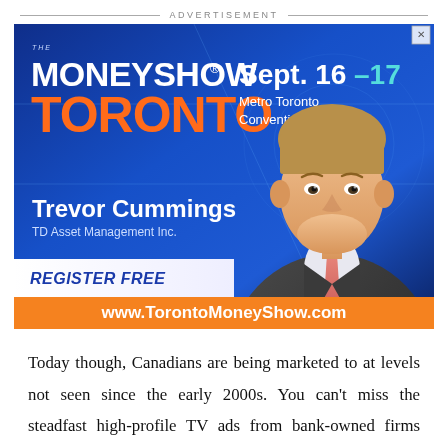ADVERTISEMENT
[Figure (illustration): Advertisement for The MoneyShow Toronto, Sept. 16-17, Metro Toronto Convention Centre, featuring Trevor Cummings from TD Asset Management Inc. Blue background with person photo, Register Free text, and www.TorontoMoneyShow.com URL bar.]
Today though, Canadians are being marketed to at levels not seen since the early 2000s. You can't miss the steadfast high-profile TV ads from bank-owned firms during the Super Bowl and the NHL